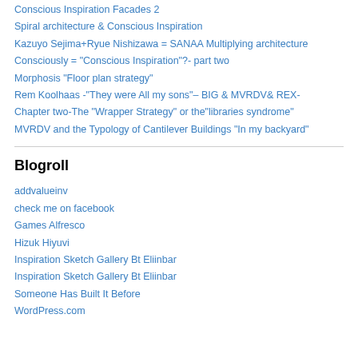Conscious Inspiration Facades 2
Spiral architecture & Conscious Inspiration
Kazuyo Sejima+Ryue Nishizawa = SANAA Multiplying architecture
Consciously = "Conscious Inspiration"?- part two
Morphosis "Floor plan strategy"
Rem Koolhaas -"They were All my sons"– BIG & MVRDV& REX-
Chapter two-The "Wrapper Strategy" or the"libraries syndrome"
MVRDV and the Typology of Cantilever Buildings "In my backyard"
Blogroll
addvalueinv
check me on facebook
Games Alfresco
Hizuk Hiyuvi
Inspiration Sketch Gallery Bt Eliinbar
Inspiration Sketch Gallery Bt Eliinbar
Someone Has Built It Before
WordPress.com